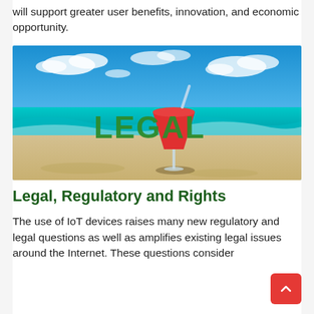will support greater user benefits, innovation, and economic opportunity.
[Figure (photo): Beach scene with blue sky, ocean waves, sandy beach, and a red cocktail drink with a straw. Green bold text 'LEGAL' overlaid on the image.]
Legal, Regulatory and Rights
The use of IoT devices raises many new regulatory and legal questions as well as amplifies existing legal issues around the Internet. These questions consider